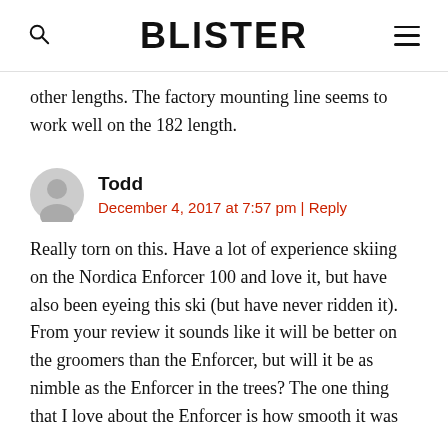BLISTER
other lengths. The factory mounting line seems to work well on the 182 length.
Todd
December 4, 2017 at 7:57 pm | Reply
Really torn on this. Have a lot of experience skiing on the Nordica Enforcer 100 and love it, but have also been eyeing this ski (but have never ridden it). From your review it sounds like it will be better on the groomers than the Enforcer, but will it be as nimble as the Enforcer in the trees? The one thing that I love about the Enforcer is how smooth it was